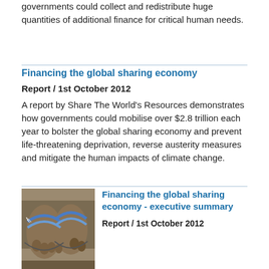governments could collect and redistribute huge quantities of additional finance for critical human needs.
Financing the global sharing economy
Report / 1st October 2012
A report by Share The World's Resources demonstrates how governments could mobilise over $2.8 trillion each year to bolster the global sharing economy and prevent life-threatening deprivation, reverse austerity measures and mitigate the human impacts of climate change.
[Figure (photo): Close-up photo of feet wearing worn blue flip-flop sandals on sandy/dusty ground]
Financing the global sharing economy - executive summary
Report / 1st October 2012